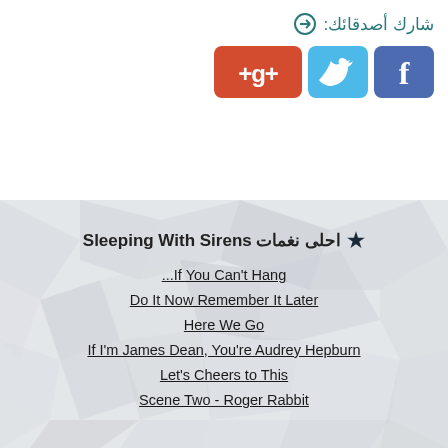شارك أصدقائك:
[Figure (infographic): Social share buttons: Google+, Twitter, Facebook]
★ احلى نغمات Sleeping With Sirens
...If You Can't Hang
Do It Now Remember It Later
Here We Go
If I'm James Dean, You're Audrey Hepburn
Let's Cheers to This
Scene Two - Roger Rabbit